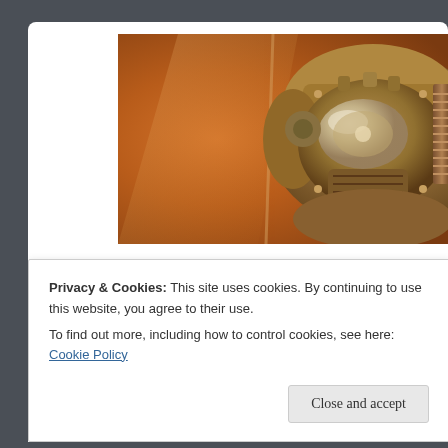[Figure (photo): Close-up photo of a bronze/copper-toned mechanical robot or power armor helmet (resembling Fallout T-51 power armor) with orange warm-toned background, highly detailed metallic surface with bolts and mechanical components]
Toy Reviews    The Workshop    Events and
Privacy & Cookies: This site uses cookies. By continuing to use this website, you agree to their use.
To find out more, including how to control cookies, see here: Cookie Policy
Close and accept